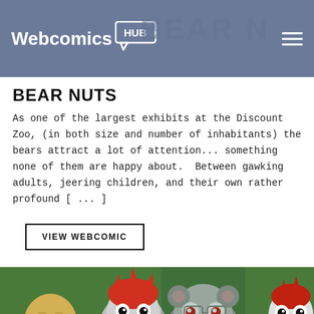Webcomics HUB — BEAR NUTS
BEAR NUTS
As one of the largest exhibits at the Discount Zoo, (in both size and number of inhabitants) the bears attract a lot of attention... something none of them are happy about.  Between gawking adults, jeering children, and their own rather profound [ ... ]
VIEW WEBCOMIC
[Figure (illustration): Colorful cartoon illustration of animated bear characters from the Bear Nuts webcomic, showing several anthropomorphic bears with expressive faces in red, grey, yellow, and other colors.]